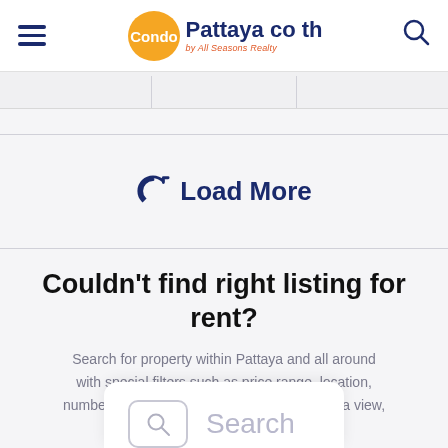Condo Pattaya co th by All Seasons Realty
Load More
Couldn't find right listing for rent?
Search for property within Pattaya and all around with special filters such as price range, location, number of bedrooms with special tags like sea view, pool view, pool access, beachfront etc.
[Figure (screenshot): Search button / card partially visible at bottom of page]